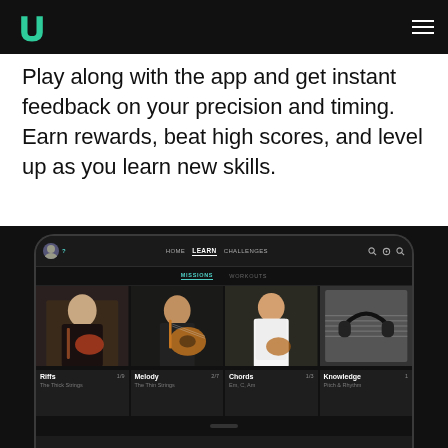[Figure (screenshot): App navigation bar with logo and hamburger menu on dark background]
Play along with the app and get instant feedback on your precision and timing. Earn rewards, beat high scores, and level up as you learn new skills.
[Figure (screenshot): Mobile app screenshot showing Yousician guitar learning app with HOME, LEARN (active), CHALLENGES tabs and lesson tiles: Riffs, Melody, Chords, Knowledge]